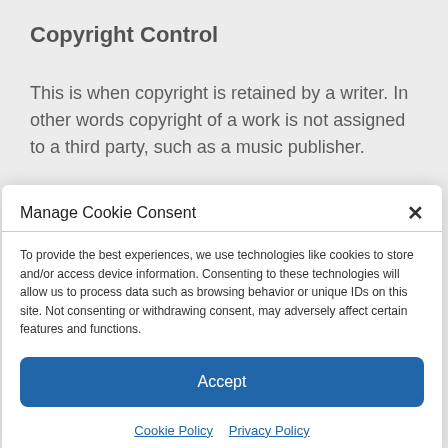Copyright Control
This is when copyright is retained by a writer. In other words copyright of a work is not assigned to a third party, such as a music publisher.
Copyright Infringement
Manage Cookie Consent
To provide the best experiences, we use technologies like cookies to store and/or access device information. Consenting to these technologies will allow us to process data such as browsing behavior or unique IDs on this site. Not consenting or withdrawing consent, may adversely affect certain features and functions.
Accept
Cookie Policy  Privacy Policy